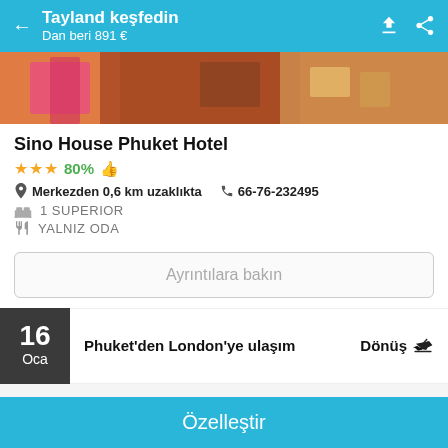Tayland keşfedin — Dan beri 891 €
[Figure (photo): Hotel room or travel photo — colorful image with pink and brown tones]
Sino House Phuket Hotel
★★★  80% 👍
Merkezden 0,6 km uzaklıkta   ☎ 66-76-232495
🛏  1 SUPERIOR
🍴  YALNIZ ODA
Ayrıntılara bakın
16 Oca — Phuket'den London'ye ulaşım — Dönüş ✈
Etihad Airways
20:25 - Phuket, Phuket Intl (HKT)
Özelleştir